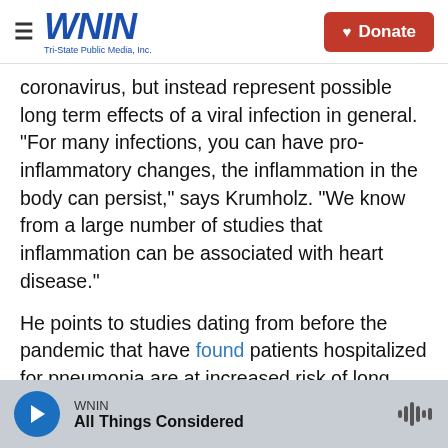WNIN Tri-State Public Media, Inc. | Donate
coronavirus, but instead represent possible long term effects of a viral infection in general. "For many infections, you can have pro-inflammatory changes, the inflammation in the body can persist," says Krumholz. "We know from a large number of studies that inflammation can be associated with heart disease."
He points to studies dating from before the pandemic that have found patients hospitalized for pneumonia are at increased risk of long term cardiovascular disease. "But the fact that this might not be specific to COVID shouldn't give us much
WNIN | All Things Considered